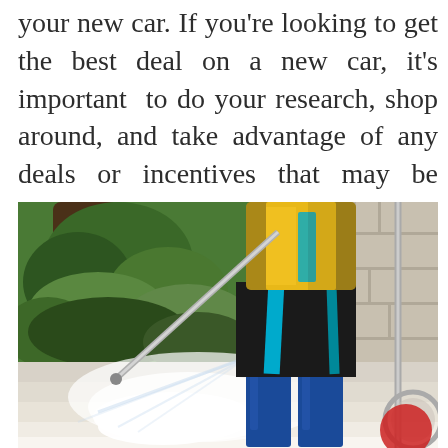your new car. If you're looking to get the best deal on a new car, it's important to do your research, shop around, and take advantage of any deals or incentives that may be available. By following these tips, you'll be sure to get the most for your money.
[Figure (photo): A person wearing a yellow jacket, black shorts with teal stripes, and blue rubber boots using a pressure washer to clean a pavement surface, with garden plants and a tree visible in the background.]